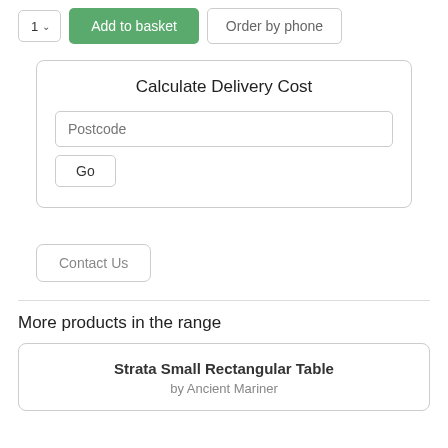[Figure (screenshot): Top bar with quantity selector showing '1' with dropdown arrow, green 'Add to basket' button, and 'Order by phone' button with border]
Calculate Delivery Cost
Postcode
Go
Contact Us
More products in the range
Strata Small Rectangular Table
by Ancient Mariner